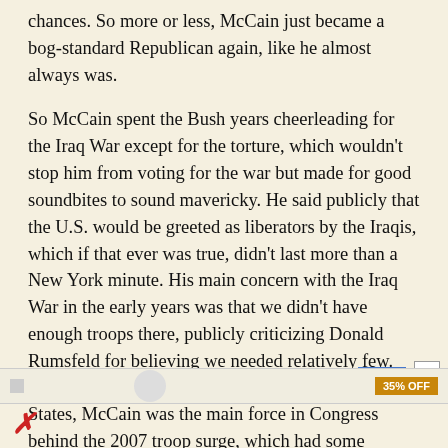chances. So more or less, McCain just became a bog-standard Republican again, like he almost always was.
So McCain spent the Bush years cheerleading for the Iraq War except for the torture, which wouldn't stop him from voting for the war but made for good soundbites to sound mavericky. He said publicly that the U.S. would be greeted as liberators by the Iraqis, which if that ever was true, didn't last more than a New York minute. His main concern with the Iraq War in the early years was that we didn't have enough troops there, publicly criticizing Donald Rumsfeld for believing we needed relatively few. And when the war did go disastrously for the United States, McCain was the main force in Congress behind the 2007 troop surge, which had some military effectiveness, but also made McCain completely unable to separate himself from an unpopular and pointless war at the moment he was preparing another run for the White House.